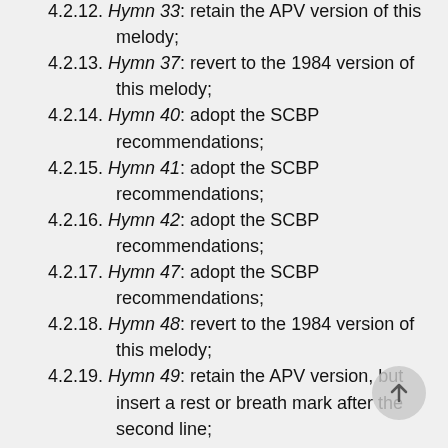version only of this melody;
4.2.12. Hymn 33: retain the APV version of this melody;
4.2.13. Hymn 37: revert to the 1984 version of this melody;
4.2.14. Hymn 40: adopt the SCBP recommendations;
4.2.15. Hymn 41: adopt the SCBP recommendations;
4.2.16. Hymn 42: adopt the SCBP recommendations;
4.2.17. Hymn 47: adopt the SCBP recommendations;
4.2.18. Hymn 48: revert to the 1984 version of this melody;
4.2.19. Hymn 49: retain the APV version, but insert a rest or breath mark after the second line;
4.2.20. Hymn 51: adopt the